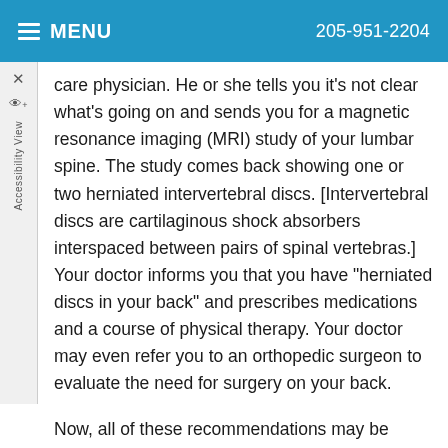MENU   205-951-2204
care physician. He or she tells you it's not clear what's going on and sends you for a magnetic resonance imaging (MRI) study of your lumbar spine. The study comes back showing one or two herniated intervertebral discs. [Intervertebral discs are cartilaginous shock absorbers interspaced between pairs of spinal vertebras.] Your doctor informs you that you have "herniated discs in your back" and prescribes medications and a course of physical therapy. Your doctor may even refer you to an orthopedic surgeon to evaluate the need for surgery on your back.
Now, all of these recommendations may be necessary. Or none of them may be necessary and